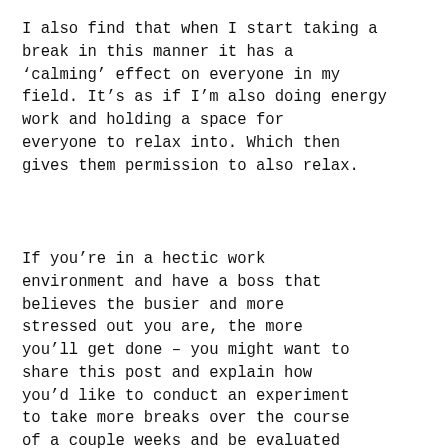I also find that when I start taking a break in this manner it has a 'calming' effect on everyone in my field. It's as if I'm also doing energy work and holding a space for everyone to relax into. Which then gives them permission to also relax.
If you're in a hectic work environment and have a boss that believes the busier and more stressed out you are, the more you'll get done – you might want to share this post and explain how you'd like to conduct an experiment to take more breaks over the course of a couple weeks and be evaluated